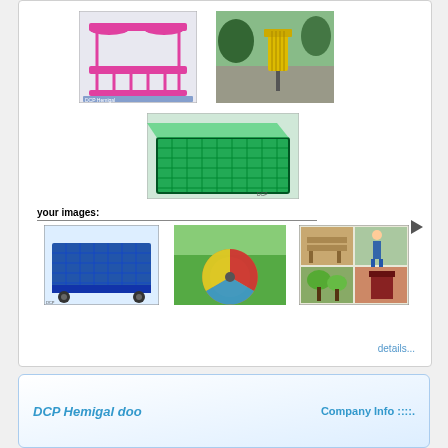[Figure (photo): Pink metal rack/frame structure on warehouse floor]
[Figure (photo): Yellow outdoor waste bin or wind chime in park setting]
[Figure (photo): Green mesh wire tray or cage structure]
your images:
[Figure (photo): Blue metal wire mesh cart with wheels]
[Figure (photo): Colorful merry-go-round playground equipment on grass]
[Figure (photo): Collage of garden/outdoor items including bench and plants]
details...
DCP Hemigal doo
Company Info ::::.